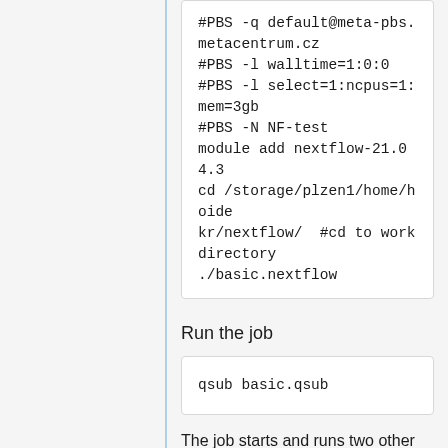#PBS -q default@meta-pbs.metacentrum.cz
#PBS -l walltime=1:0:0
#PBS -l select=1:ncpus=1:mem=3gb
#PBS -N NF-test
module add nextflow-21.04.3
cd /storage/plzen1/home/hoidekr/nextflow/  #cd to work directory
./basic.nextflow
Run the job
qsub basic.qsub
The job starts and runs two other jobs as specified in nexflow script. All information about run jobs, stdout/errout job skripts, intermediate results, results etc. is saved